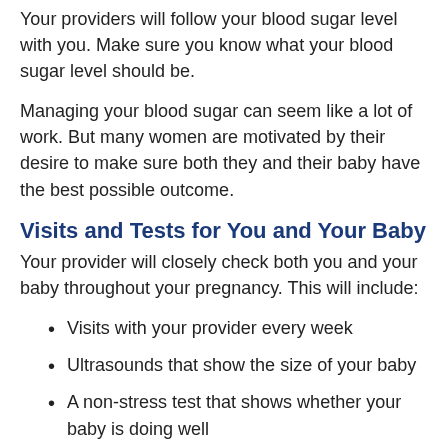Your providers will follow your blood sugar level with you. Make sure you know what your blood sugar level should be.
Managing your blood sugar can seem like a lot of work. But many women are motivated by their desire to make sure both they and their baby have the best possible outcome.
Visits and Tests for You and Your Baby
Your provider will closely check both you and your baby throughout your pregnancy. This will include:
Visits with your provider every week
Ultrasounds that show the size of your baby
A non-stress test that shows whether your baby is doing well